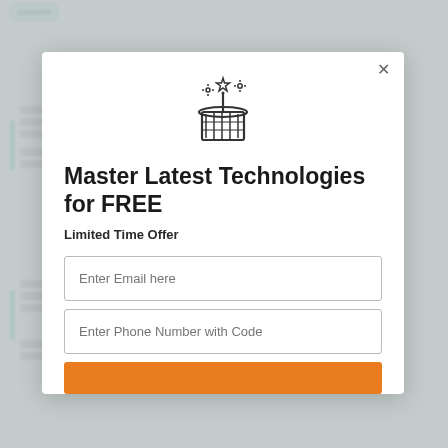[Figure (screenshot): A popup modal dialog for an education platform offering 'Master Latest Technologies for FREE' with a Limited Time Offer. Contains a magic hat icon, email input, phone number input, and an orange CTA button. Background shows a blurred page content.]
Master Latest Technologies for FREE
Limited Time Offer
Enter Email here
Enter Phone Number with Code